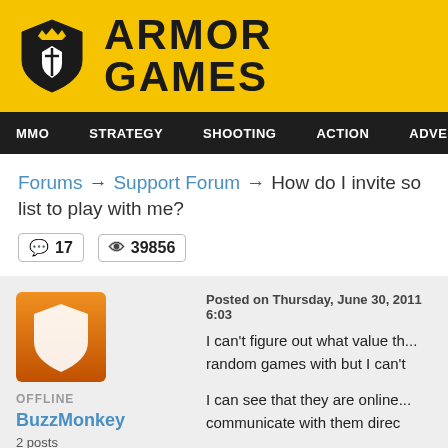[Figure (logo): Armor Games logo with shield icon and bold text ARMOR GAMES on yellow background]
MMO  STRATEGY  SHOOTING  ACTION  ADVENTURE  P
Forums → Support Forum → How do I invite so... list to play with me?
17 comments  39856 views
OFFLINE
BuzzMonkey
2 posts
★ Nomad

Posted on Thursday, June 30, 2011 6:03
I can't figure out what value th... random games with but I can't...

I can see that they are online... communicate with them direc...

Any help would be appreciate...